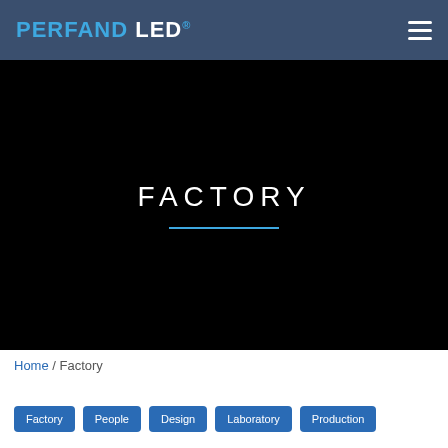PERFAND LED®
FACTORY
Home / Factory
Factory
People
Design
Laboratory
Production